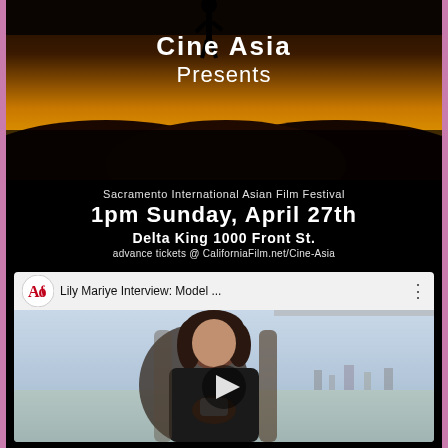[Figure (photo): Cine Asia Presents promotional image with silhouette figure against golden sunset background with mountains]
Sacramento International Asian Film Festival
1pm Sunday, April 27th
Delta King 1000 Front St.
advance tickets @ CaliforniaFilm.net/Cine-Asia
[Figure (screenshot): YouTube video thumbnail showing 'Lily Mariye Interview: Model ...' with AOF logo and woman seated in chair with cityscape background, play button overlay]